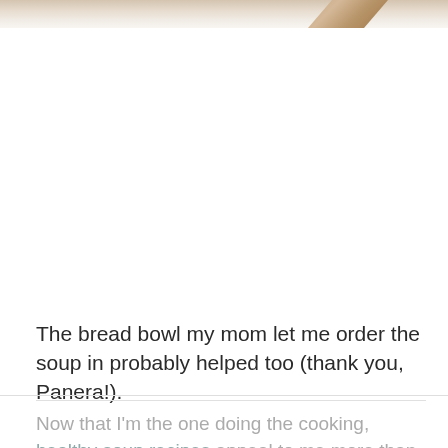[Figure (photo): Partial top view of a photo showing what appears to be a bread bowl with soup, with a decorative spoon visible on the right side. The image is cropped showing only the very top portion.]
The bread bowl my mom let me order the soup in probably helped too (thank you, Panera!).
Now that I'm the one doing the cooking, healthy soup recipes appeal to me more than ever before.